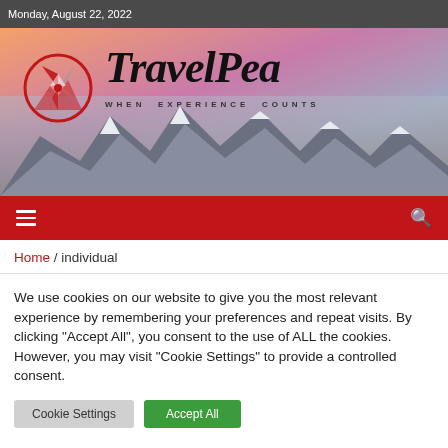Monday, August 22, 2022
[Figure (illustration): TravelPea website hero banner with logo (circular red windmill/compass design), large italic 'TravelPea' title text, subtitle 'WHEN EXPERIENCE COUNTS', and snow-capped mountain range background with warm-to-cool gradient sky]
[Figure (infographic): Red navigation bar with hamburger menu icon on the left and search (magnifying glass) icon on the right]
Home / individual
We use cookies on our website to give you the most relevant experience by remembering your preferences and repeat visits. By clicking "Accept All", you consent to the use of ALL the cookies. However, you may visit "Cookie Settings" to provide a controlled consent.